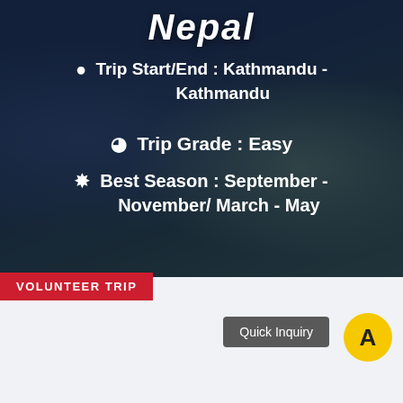Nepal
Trip Start/End : Kathmandu - Kathmandu
Trip Grade : Easy
Best Season : September - November/ March - May
Quick Inquiry
VOLUNTEER TRIP
|  | Price |  | Duration |
| --- | --- | --- | --- |
| $ |  |  | 8 Days |
| Elevation |  | Accomodation |  |
| 1300 Meter |  | Hotel/Lodge/Tea Houses |  |
Price
$
Duration
8 Days
Elevation
1300 Meter
Accomodation
Hotel/Lodge/Tea Houses